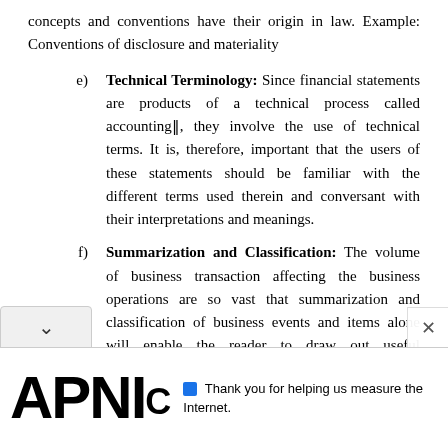concepts and conventions have their origin in law. Example: Conventions of disclosure and materiality
e) Technical Terminology: Since financial statements are products of a technical process called accounting‖, they involve the use of technical terms. It is, therefore, important that the users of these statements should be familiar with the different terms used therein and conversant with their interpretations and meanings.
f) Summarization and Classification: The volume of business transaction affecting the business operations are so vast that summarization and classification of business events and items alone will enable the reader to draw out useful conclusions.
g) Money Terms: All business transactions ar...